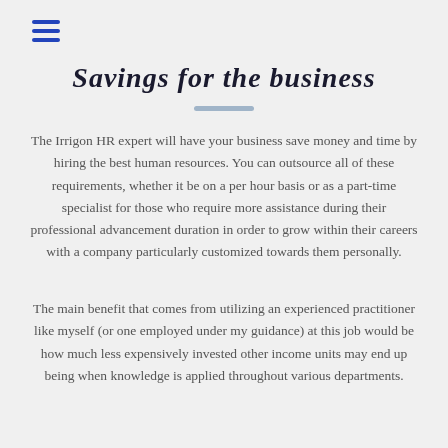☰
Savings for the business
The Irrigon HR expert will have your business save money and time by hiring the best human resources. You can outsource all of these requirements, whether it be on a per hour basis or as a part-time specialist for those who require more assistance during their professional advancement duration in order to grow within their careers with a company particularly customized towards them personally.
The main benefit that comes from utilizing an experienced practitioner like myself (or one employed under my guidance) at this job would be how much less expensively invested other income units may end up being when knowledge is applied throughout various departments.